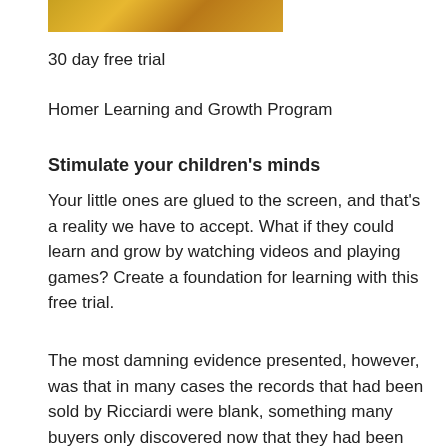[Figure (photo): Partial photo showing a child or person, with warm yellow/orange tones, cropped at top of page]
30 day free trial
Homer Learning and Growth Program
Stimulate your children's minds
Your little ones are glued to the screen, and that's a reality we have to accept. What if they could learn and grow by watching videos and playing games? Create a foundation for learning with this free trial.
The most damning evidence presented, however, was that in many cases the records that had been sold by Ricciardi were blank, something many buyers only discovered now that they had been